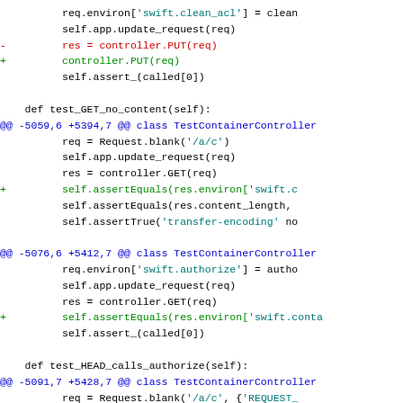[Figure (screenshot): A code diff showing Python test code changes with red lines (removed) and green lines (added), blue diff hunk headers, and black unchanged lines in monospace font.]